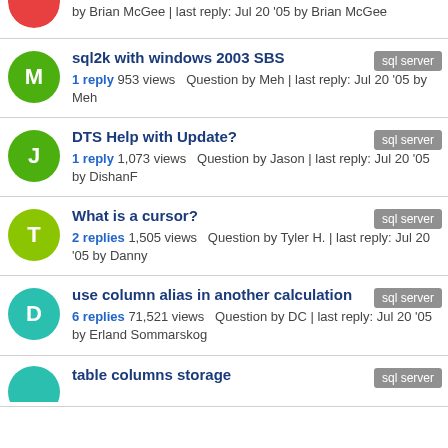by Brian McGee | last reply: Jul 20 '05 by Brian McGee
sql2k with windows 2003 SBS — sql server — 1 reply 953 views Question by Meh | last reply: Jul 20 '05 by Meh
DTS Help with Update? — sql server — 1 reply 1,073 views Question by Jason | last reply: Jul 20 '05 by DishanF
What is a cursor? — sql server — 2 replies 1,505 views Question by Tyler H. | last reply: Jul 20 '05 by Danny
use column alias in another calculation — sql server — 6 replies 71,521 views Question by DC | last reply: Jul 20 '05 by Erland Sommarskog
table columns storage — sql server